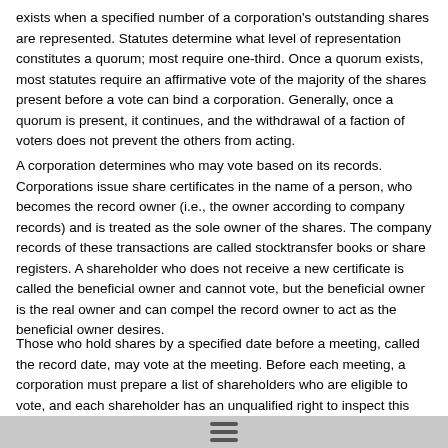exists when a specified number of a corporation's outstanding shares are represented. Statutes determine what level of representation constitutes a quorum; most require one-third. Once a quorum exists, most statutes require an affirmative vote of the majority of the shares present before a vote can bind a corporation. Generally, once a quorum is present, it continues, and the withdrawal of a faction of voters does not prevent the others from acting.
A corporation determines who may vote based on its records. Corporations issue share certificates in the name of a person, who becomes the record owner (i.e., the owner according to company records) and is treated as the sole owner of the shares. The company records of these transactions are called stocktransfer books or share registers. A shareholder who does not receive a new certificate is called the beneficial owner and cannot vote, but the beneficial owner is the real owner and can compel the record owner to act as the beneficial owner desires.
Those who hold shares by a specified date before a meeting, called the record date, may vote at the meeting. Before each meeting, a corporation must prepare a list of shareholders who are eligible to vote, and each shareholder has an unqualified right to inspect this voting list.